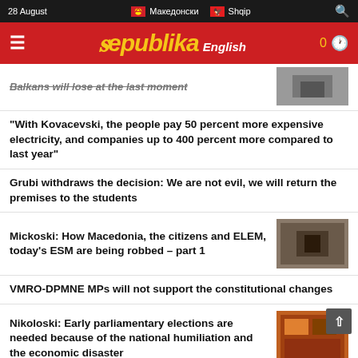28 August | Македонски | Shqip
[Figure (logo): Republika English news website logo on red background with hamburger menu icon]
Balkans will lose at the last moment
“With Kovacevski, the people pay 50 percent more expensive electricity, and companies up to 400 percent more compared to last year”
Grubi withdraws the decision: We are not evil, we will return the premises to the students
Mickoski: How Macedonia, the citizens and ELEM, today’s ESM are being robbed – part 1
VMRO-DPMNE MPs will not support the constitutional changes
Nikoloski: Early parliamentary elections are needed because of the national humiliation and the economic disaster
Maricic is pushing for the opening of the...